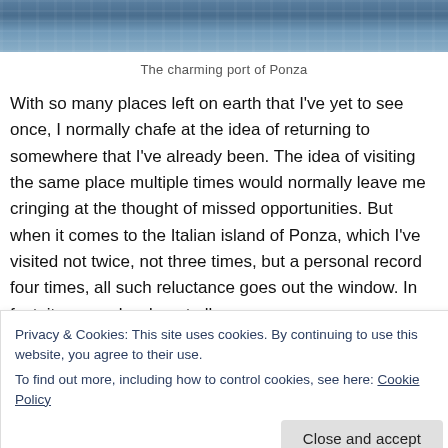[Figure (photo): A cropped photo of the sea/water near the port of Ponza, showing blue-grey ocean surface.]
The charming port of Ponza
With so many places left on earth that I've yet to see once, I normally chafe at the idea of returning to somewhere that I've already been. The idea of visiting the same place multiple times would normally leave me cringing at the thought of missed opportunities. But when it comes to the Italian island of Ponza, which I've visited not twice, not three times, but a personal record four times, all such reluctance goes out the window. In fact, it was no burden at all.
Privacy & Cookies: This site uses cookies. By continuing to use this website, you agree to their use.
To find out more, including how to control cookies, see here: Cookie Policy
good eight years since I had last seen these lovely and